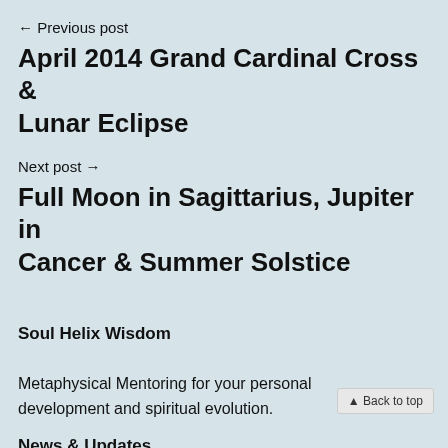← Previous post
April 2014 Grand Cardinal Cross & Lunar Eclipse
Next post →
Full Moon in Sagittarius, Jupiter in Cancer & Summer Solstice
Soul Helix Wisdom
Metaphysical Mentoring for your personal development and spiritual evolution.
News & Updates
▲ Back to top